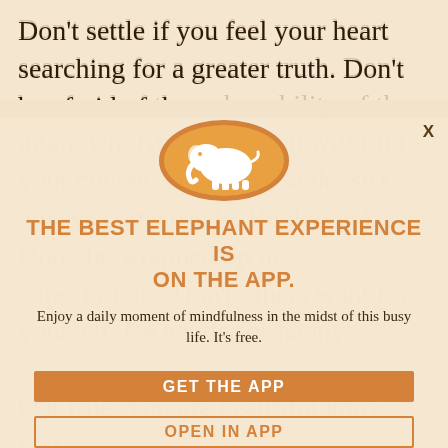Don't settle if you feel your heart searching for a greater truth. Don't be afraid of the vulnerability of the unknown. Know that you will find your course. If the course doesn't always come easily. Be the seeker. Don't be wrapped up in expectations. Don't others want for yourself. Be gentle for happy.
[Figure (logo): Orange circle with white elephant silhouette - Elephant Journal app logo]
THE BEST ELEPHANT EXPERIENCE IS ON THE APP.
Enjoy a daily moment of mindfulness in the midst of this busy life. It's free.
GET THE APP
OPEN IN APP